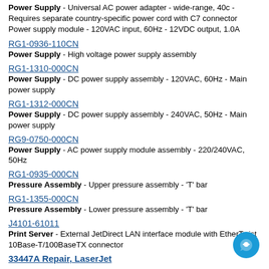Power Supply - Universal AC power adapter - wide-range, 40c - Requires separate country-specific power cord with C7 connector Power supply module - 120VAC input, 60Hz - 12VDC output, 1.0A
RG1-0936-110CN — Power Supply - High voltage power supply assembly
RG1-1310-000CN — Power Supply - DC power supply assembly - 120VAC, 60Hz - Main power supply
RG1-1312-000CN — Power Supply - DC power supply assembly - 240VAC, 50Hz - Main power supply
RG9-0750-000CN — Power Supply - AC power supply module assembly - 220/240VAC, 50Hz
RG1-0935-000CN — Pressure Assembly - Upper pressure assembly - 'T' bar
RG1-1355-000CN — Pressure Assembly - Lower pressure assembly - 'T' bar
J4101-61011 — Print Server - External JetDirect LAN interface module with EtherTwist 10Base-T/100BaseTX connector
33447A Repair, LaserJet